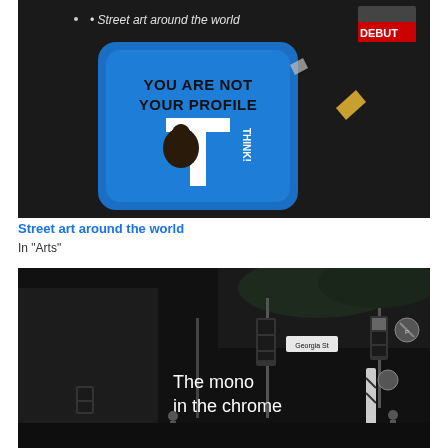[Figure (photo): Street art photo showing a dark wall with a blue sticker/poster reading 'YOU ARE NOT YOUR PROFILE' with a large white T shape and a man's portrait, plus a 'DEBUT' sticker in upper right and text 'Street art around the world' at top.]
Street art around the world
In "Arts"
[Figure (photo): Black and white photo of a city intersection at night with traffic lights, street signs including 'Georgia St', and text overlay reading 'The mono in the chrome'. Two pedestrians visible.]